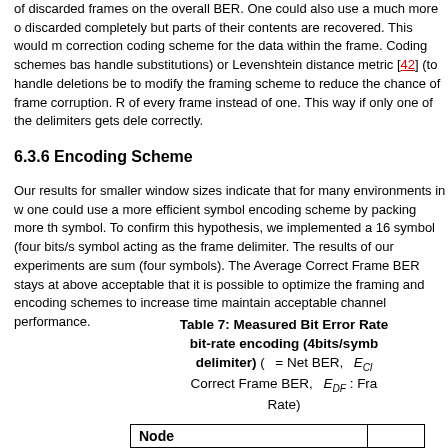of discarded frames on the overall BER. One could also use a much more discarded completely but parts of their contents are recovered. This would m correction coding scheme for the data within the frame. Coding schemes bas handle substitutions) or Levenshtein distance metric [42] (to handle deletions be to modify the framing scheme to reduce the chance of frame corruption. R of every frame instead of one. This way if only one of the delimiters gets dele correctly.
6.3.6 Encoding Scheme
Our results for smaller window sizes indicate that for many environments in w one could use a more efficient symbol encoding scheme by packing more th symbol. To confirm this hypothesis, we implemented a 16 symbol (four bits/s symbol acting as the frame delimiter. The results of our experiments are sum (four symbols). The Average Correct Frame BER stays at above acceptable that it is possible to optimize the framing and encoding schemes to increase time maintain acceptable channel performance.
Table 7: Measured Bit Error Rate bit-rate encoding (4bits/symb delimiter) ( = Net BER, ECl Correct Frame BER, EDF : Fra Rate)
| Node |  |
| --- | --- |